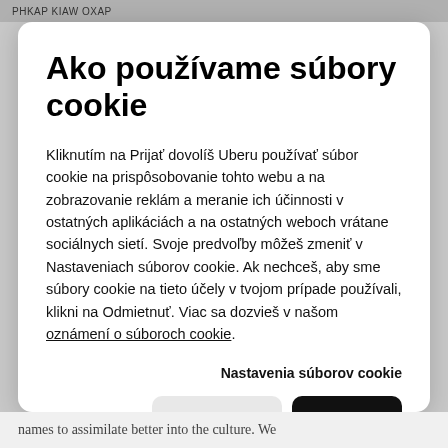PHKAP KIAW OXAP
Ako používame súbory cookie
Kliknutím na Prijať dovolíš Uberu používať súbor cookie na prispôsobovanie tohto webu a na zobrazovanie reklám a meranie ich účinnosti v ostatných aplikáciách a na ostatných weboch vrátane sociálnych sietí. Svoje predvoľby môžeš zmeniť v Nastaveniach súborov cookie. Ak nechceš, aby sme súbory cookie na tieto účely v tvojom prípade používali, klikni na Odmietnuť. Viac sa dozvieš v našom oznámení o súboroch cookie.
Nastavenia súborov cookie
Zamietnuť
Prijať
names to assimilate better into the culture. We